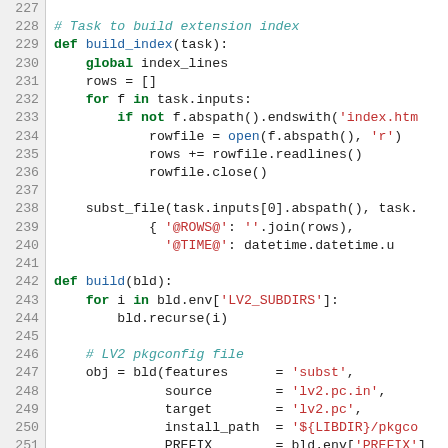[Figure (screenshot): Python source code listing, lines 227-256, showing build_index and build functions with syntax highlighting. Line numbers in grey left gutter, keywords in green bold, function names in blue, string literals in red, comments in teal italic.]